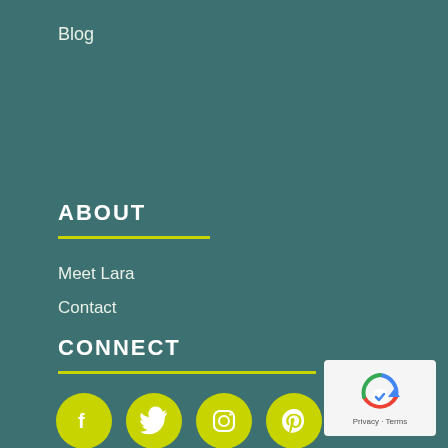Blog
ABOUT
Meet Lara
Contact
CONNECT
[Figure (illustration): Four yellow-green circular social media icons: Facebook, Twitter, Instagram, Pinterest]
[Figure (other): reCAPTCHA widget with Privacy and Terms links]